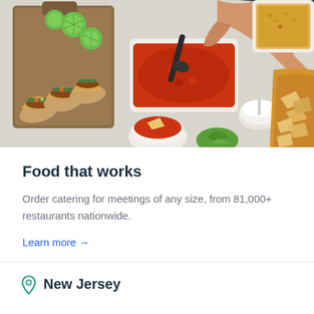[Figure (photo): Overhead view of Mexican food spread including tacos on a wooden board, salsa in a container with a spoon, chips in a brown bag, various bowls with dips and toppings, lime slices, and a person's hand reaching for the salsa.]
Food that works
Order catering for meetings of any size, from 81,000+ restaurants nationwide.
Learn more →
New Jersey